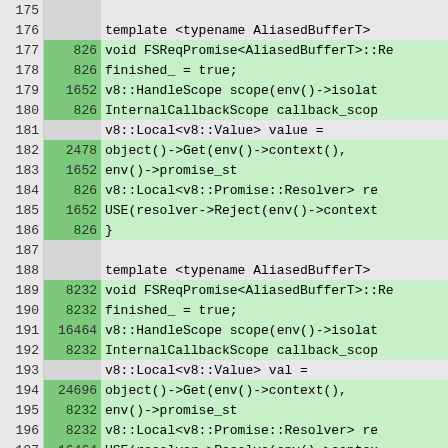[Figure (screenshot): Code coverage viewer showing C++ source lines 175-201 with line numbers, execution counts, and code content. Green highlighted rows indicate executed lines, grey rows indicate unexecuted lines.]